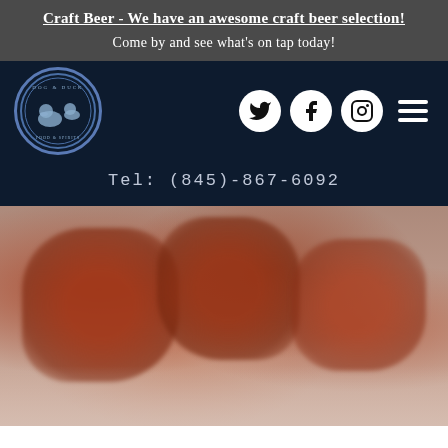Craft Beer - We have an awesome craft beer selection!
Come by and see what's on tap today!
[Figure (logo): Dog & Duck Food & Spirits circular logo with dog and duck illustration]
[Figure (illustration): Social media icons: Twitter, Facebook, Instagram, and hamburger menu]
Tel: (845)-867-6092
[Figure (photo): Food photo showing grilled/fried chicken wings or similar food items with reddish-brown glaze]